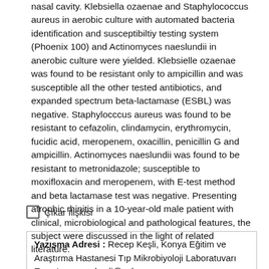nasal cavity. Klebsiella ozaenae and Staphylococcus aureus in aerobic culture with automated bacteria identification and susceptibiltiy testing system (Phoenix 100) and Actinomyces naeslundii in anerobic culture were yielded. Klebsielle ozaenae was found to be resistant only to ampicillin and was susceptible all the other tested antibiotics, and expanded spectrum beta-lactamase (ESBL) was negative. Staphylocccus aureus was found to be resistant to cefazolin, clindamycin, erythromycin, fucidic acid, meropenem, oxacillin, penicillin G and ampicillin. Actinomyces naeslundii was found to be resistant to metronidazole; susceptible to moxifloxacin and meropenem, with E-test method and beta lactamase test was negative. Presenting atrophic rhinitis in a 10-year-old male patient with clinical, microbiological and pathological features, the subject were discussed in the light of related literature.
Çıkar İlişkisi
Yazışma Adresi : Recep Keşli, Konya Eğitim ve Araştırma Hastanesi Tıp Mikrobiyoloji Laboratuvarı Eposta : recepkesli@yahoo.com